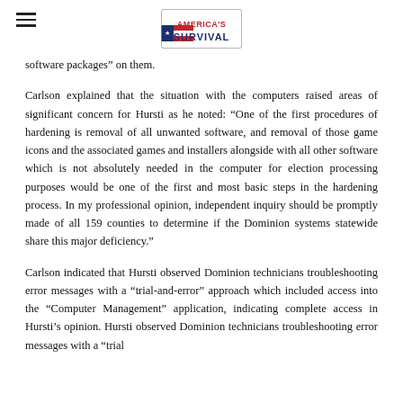America's Survival (logo)
software packages” on them.
Carlson explained that the situation with the computers raised areas of significant concern for Hursti as he noted: “One of the first procedures of hardening is removal of all unwanted software, and removal of those game icons and the associated games and installers alongside with all other software which is not absolutely needed in the computer for election processing purposes would be one of the first and most basic steps in the hardening process. In my professional opinion, independent inquiry should be promptly made of all 159 counties to determine if the Dominion systems statewide share this major deficiency.”
Carlson indicated that Hursti observed Dominion technicians troubleshooting error messages with a “trial-and-error” approach which included access into the “Computer Management” application, indicating complete access in Hursti’s opinion. Hursti observed Dominion technicians troubleshooting error messages with a “trial